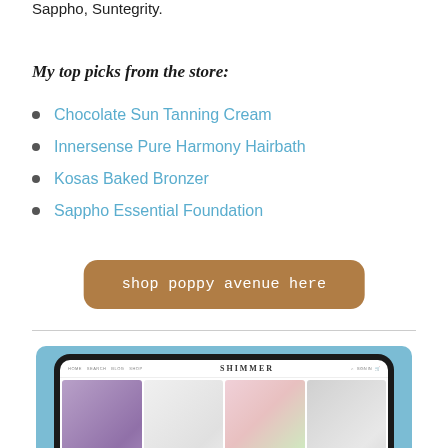Sappho, Suntegrity.
My top picks from the store:
Chocolate Sun Tanning Cream
Innersense Pure Harmony Hairbath
Kosas Baked Bronzer
Sappho Essential Foundation
shop poppy avenue here
[Figure (screenshot): Screenshot of a website called SHIMMER displayed on a tablet device with a light blue background. The website shows a navigation bar and a grid of product images including purple items, white items, flowers, and gray items.]